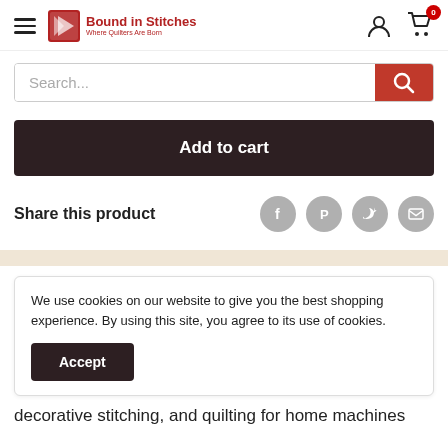Bound in Stitches — Where Quilters Are Born
[Figure (screenshot): Search bar with red search button]
[Figure (screenshot): Add to cart dark button]
Share this product
[Figure (screenshot): Social share icons: Facebook, Pinterest, Twitter, Email]
We use cookies on our website to give you the best shopping experience. By using this site, you agree to its use of cookies.
Accept
decorative stitching, and quilting for home machines